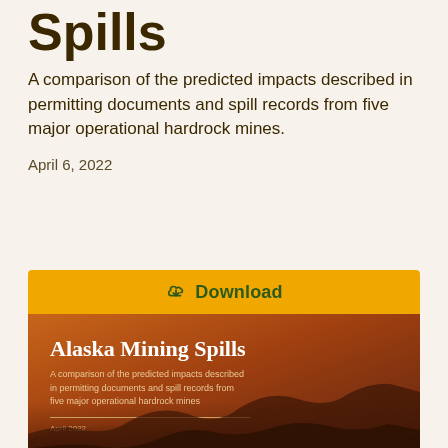Spills
A comparison of the predicted impacts described in permitting documents and spill records from five major operational hardrock mines.
April 6, 2022
[Figure (illustration): Download button bar with golden background and cloud download icon labeled 'Download', above a report cover image showing 'Alaska Mining Spills' title with subtitle and date on an orange-brown mining landscape background.]